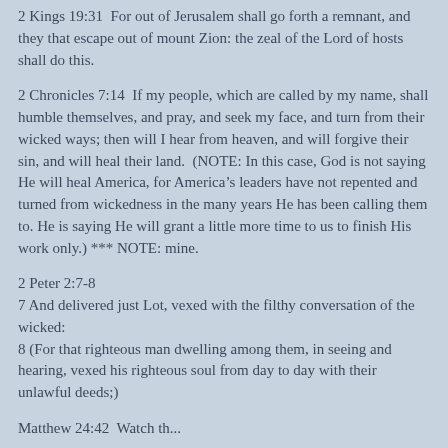2 Kings 19:31  For out of Jerusalem shall go forth a remnant, and they that escape out of mount Zion: the zeal of the Lord of hosts shall do this.
2 Chronicles 7:14  If my people, which are called by my name, shall humble themselves, and pray, and seek my face, and turn from their wicked ways; then will I hear from heaven, and will forgive their sin, and will heal their land.  (NOTE: In this case, God is not saying He will heal America, for America’s leaders have not repented and turned from wickedness in the many years He has been calling them to. He is saying He will grant a little more time to us to finish His work only.) *** NOTE: mine.
2 Peter 2:7-8
7 And delivered just Lot, vexed with the filthy conversation of the wicked:
8 (For that righteous man dwelling among them, in seeing and hearing, vexed his righteous soul from day to day with their unlawful deeds;)
Matthew 24:42  Watch therefore...